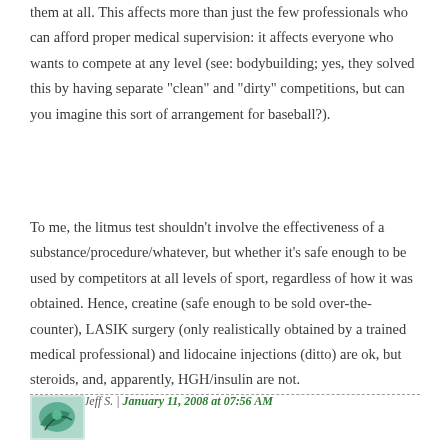them at all. This affects more than just the few professionals who can afford proper medical supervision: it affects everyone who wants to compete at any level (see: bodybuilding; yes, they solved this by having separate "clean" and "dirty" competitions, but can you imagine this sort of arrangement for baseball?).
To me, the litmus test shouldn't involve the effectiveness of a substance/procedure/whatever, but whether it's safe enough to be used by competitors at all levels of sport, regardless of how it was obtained. Hence, creatine (safe enough to be sold over-the-counter), LASIK surgery (only realistically obtained by a trained medical professional) and lidocaine injections (ditto) are ok, but steroids, and, apparently, HGH/insulin are not.
Posted by: Jeff S. | January 11, 2008 at 07:56 AM
[Figure (logo): Small avatar/logo image in bottom left corner, teal/green colored illustration]